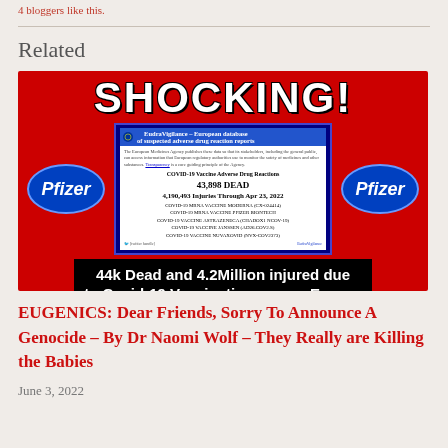4 bloggers like this.
Related
[Figure (infographic): Shocking! graphic with Pfizer logos and EudraVigilance data showing COVID-19 Vaccine Adverse Drug Reactions: 43,898 DEAD, 4,190,493 Injuries Through Apr 23, 2022. Bottom text: 44k Dead and 4.2Million injured due to Covid-19 Vaccination across Europe]
EUGENICS: Dear Friends, Sorry To Announce A Genocide – By Dr Naomi Wolf – They Really are Killing the Babies
June 3, 2022